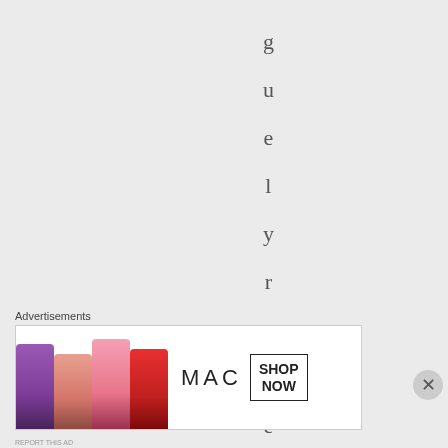guelyremembe r
Advertisements
[Figure (other): MAC cosmetics advertisement banner showing lipsticks in purple, peach, pink, and red colors with MAC logo and SHOP NOW button]